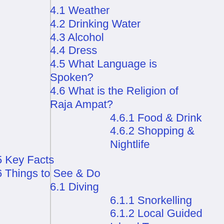4.1 Weather
4.2 Drinking Water
4.3 Alcohol
4.4 Dress
4.5 What Language is Spoken?
4.6 What is the Religion of Raja Ampat?
4.6.1 Food & Drink
4.6.2 Shopping & Nightlife
5 Key Facts
6 Things to See & Do
6.1 Diving
6.1.1 Snorkelling
6.1.2 Local Guided Island Tours